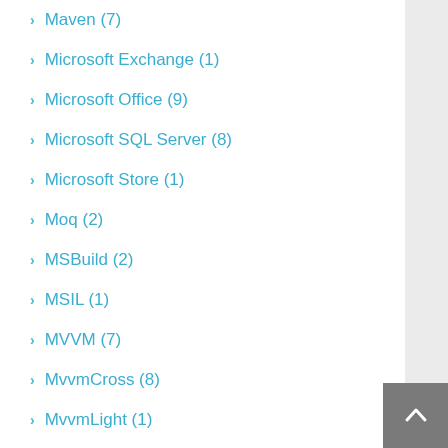Maven (7)
Microsoft Exchange (1)
Microsoft Office (9)
Microsoft SQL Server (8)
Microsoft Store (1)
Moq (2)
MSBuild (2)
MSIL (1)
MVVM (7)
MvvmCross (8)
MvvmLight (1)
NAnt (4)
Native Interop (5)